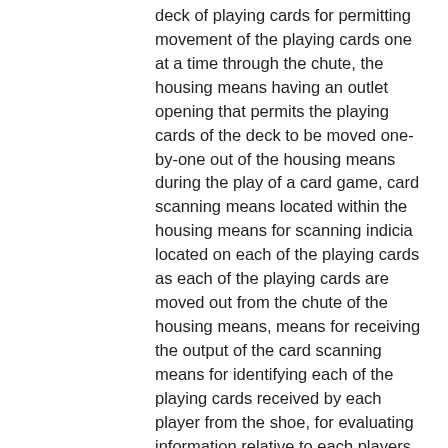deck of playing cards for permitting movement of the playing cards one at a time through the chute, the housing means having an outlet opening that permits the playing cards of the deck to be moved one-by-one out of the housing means during the play of a card game, card scanning means located within the housing means for scanning indicia located on each of the playing cards as each of the playing cards are moved out from the chute of the housing means, means for receiving the output of the card scanning means for identifying each of the playing cards received by each player from the shoe, for evaluating information relative to each players received playing cards and their values with information as to playing tactics used by each player relative to the values of the received playing cards, and for combining all of this information for identifying each player's playing strategy, and a playing table coupled to the card delivery shoe apparatus and having at least one keypad means located thereon for permitting at least one player to select